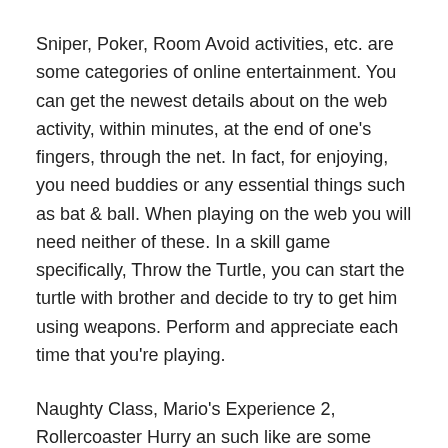Sniper, Poker, Room Avoid activities, etc. are some categories of online entertainment. You can get the newest details about on the web activity, within minutes, at the end of one's fingers, through the net. In fact, for enjoying, you need buddies or any essential things such as bat & ball. When playing on the web you will need neither of these. In a skill game specifically, Throw the Turtle, you can start the turtle with brother and decide to try to get him using weapons. Perform and appreciate each time that you're playing.
Naughty Class, Mario's Experience 2, Rollercoaster Hurry an such like are some types of on the web entertainment. The listed consumers are informed through mail about the newest sport releases from the web sport website itself. You can find several types of online slot on the Earth industry today. A number of them are 3 reel slots, 5 reel slots, and free casinos and therefore on. In a management game, Goodgame Café, as a new player you can enhance your café, prepare dinners &